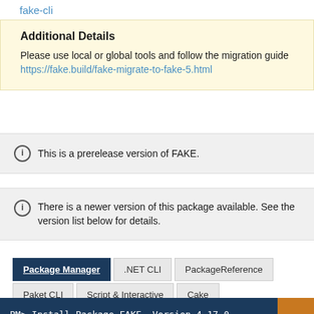fake-cli
Additional Details
Please use local or global tools and follow the migration guide https://fake.build/fake-migrate-to-fake-5.html
ⓘ This is a prerelease version of FAKE.
ⓘ There is a newer version of this package available. See the version list below for details.
Package Manager | .NET CLI | PackageReference | Paket CLI | Script & Interactive | Cake
PM> Install-Package FAKE -Version 4.17.0-alpha003